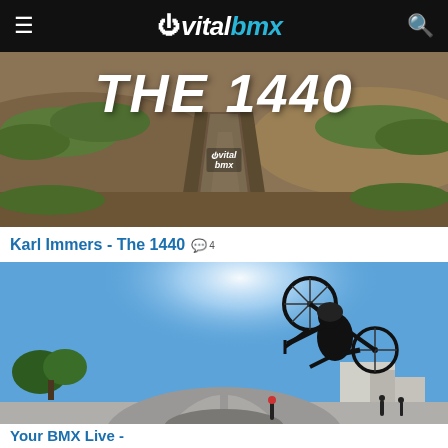vitalbmx
[Figure (photo): Aerial view of a BMX dirt jump track with 'THE 1440' text overlay and VitalBMX logo watermark]
Karl Immers - The 1440  💬4
[Figure (photo): BMX rider performing a trick at a skatepark, silhouetted against blue sky, shot from below with fish-eye lens]
Your BMX Live - ...